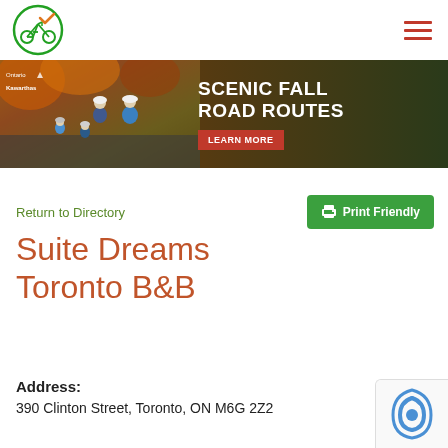[Figure (logo): Bicycle with checkmark in green circle logo]
[Figure (photo): Banner advertisement showing cyclists on fall road routes with text 'SCENIC FALL ROAD ROUTES' and 'LEARN MORE' button. Ontario and Kawarthas logos visible.]
Print Friendly
Return to Directory
Suite Dreams Toronto B&B
Address:
390 Clinton Street, Toronto, ON M6G 2Z2